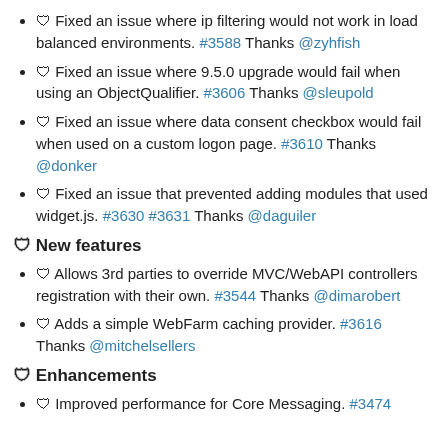🛡 Fixed an issue where ip filtering would not work in load balanced environments. #3588 Thanks @zyhfish
🛡 Fixed an issue where 9.5.0 upgrade would fail when using an ObjectQualifier. #3606 Thanks @sleupold
🛡 Fixed an issue where data consent checkbox would fail when used on a custom logon page. #3610 Thanks @donker
🛡 Fixed an issue that prevented adding modules that used widget.js. #3630 #3631 Thanks @daguiler
🛡 New features
🛡 Allows 3rd parties to override MVC/WebAPI controllers registration with their own. #3544 Thanks @dimarobert
🛡 Adds a simple WebFarm caching provider. #3616 Thanks @mitchelsellers
🛡 Enhancements
🛡 Improved performance for Core Messaging. #3474